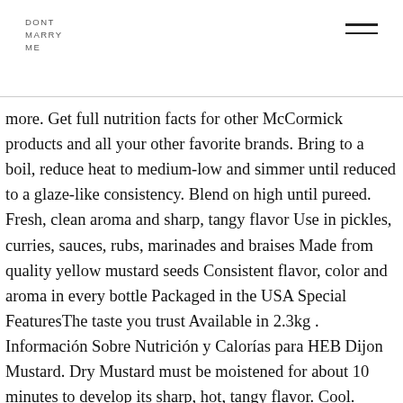DONT MARRY ME
more. Get full nutrition facts for other McCormick products and all your other favorite brands. Bring to a boil, reduce heat to medium-low and simmer until reduced to a glaze-like consistency. Blend on high until pureed. Fresh, clean aroma and sharp, tangy flavor Use in pickles, curries, sauces, rubs, marinades and braises Made from quality yellow mustard seeds Consistent flavor, color and aroma in every bottle Packaged in the USA Special FeaturesThe taste you trust Available in 2.3kg . Información Sobre Nutrición y Calorías para HEB Dijon Mustard. Dry Mustard must be moistened for about 10 minutes to develop its sharp, hot, tangy flavor. Cool. McCormick Ground Dry Mustard 16oz (1lb) 453g. This rich, tangy, buttery sauce can be served with vegetables, fish or grilled chicken. Unlike most other aromatic spices, Ground Mustard has no aroma when dry. In a bowl combine reduced syrup, Dijon mustard and mayonnaise. It adds a pungent kick to deviled eggs, ham glaze, cheese sauce and more. You can manage additional layers of account protection via your account information settings. Recipe Details. Meet the perfect match of ingredients and value: French's® Classic Yellow Mustard® and Tomato